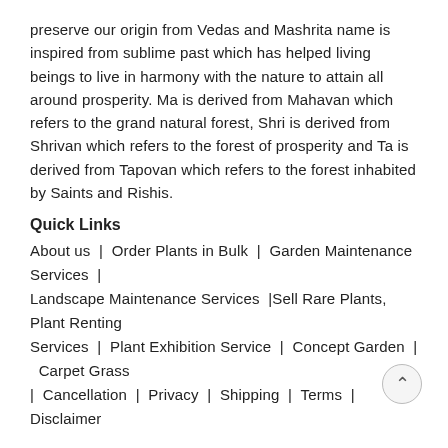preserve our origin from Vedas and Mashrita name is inspired from sublime past which has helped living beings to live in harmony with the nature to attain all around prosperity. Ma is derived from Mahavan which refers to the grand natural forest, Shri is derived from Shrivan which refers to the forest of prosperity and Ta is derived from Tapovan which refers to the forest inhabited by Saints and Rishis.
Quick Links
About us | Order Plants in Bulk | Garden Maintenance Services | Landscape Maintenance Services | Sell Rare Plants, Plant Renting Services | Plant Exhibition Service | Concept Garden | Carpet Grass | Cancellation | Privacy | Shipping | Terms | Disclaimer
Planters: Polystone Planters | Geo Concrete Planters | Terrariums | Metal | Ceramic | Terracotta | Wood Planters | Miniatures | Self Watering | Kitchen Garden Planters
Services: Green Wall | Green Roof | Green Villa | Landscaping | Vertical Garden | Kitchen Garden | Roof Garden | Balcony Ga… | Green Gifting | Office Plants Rentals